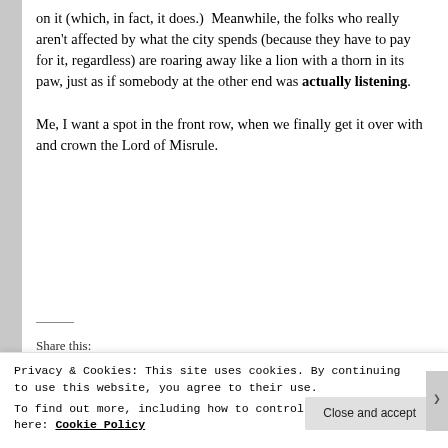on it (which, in fact, it does.)  Meanwhile, the folks who really aren't affected by what the city spends (because they have to pay for it, regardless) are roaring away like a lion with a thorn in its paw, just as if somebody at the other end was actually listening.
Me, I want a spot in the front row, when we finally get it over with and crown the Lord of Misrule.
Share this:
Privacy & Cookies: This site uses cookies. By continuing to use this website, you agree to their use.
To find out more, including how to control cookies, see here: Cookie Policy
Close and accept